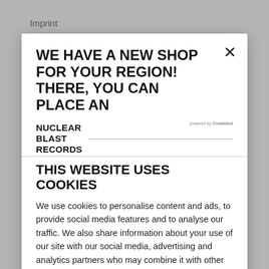Imprint
WE HAVE A NEW SHOP FOR YOUR REGION! THERE, YOU CAN PLACE AN
[Figure (logo): Nuclear Blast Records logo text]
THIS WEBSITE USES COOKIES
We use cookies to personalise content and ads, to provide social media features and to analyse our traffic. We also share information about your use of our site with our social media, advertising and analytics partners who may combine it with other information that you've provided to them or that they've collected from your use of their services.
Show